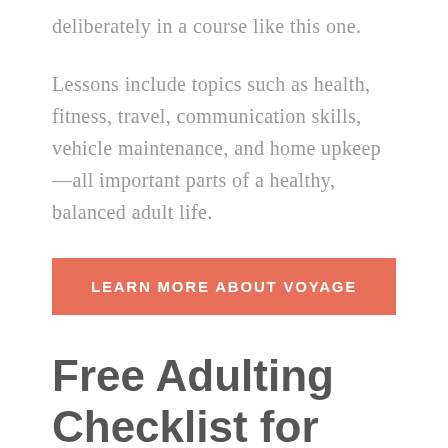deliberately in a course like this one.
Lessons include topics such as health, fitness, travel, communication skills, vehicle maintenance, and home upkeep—all important parts of a healthy, balanced adult life.
LEARN MORE ABOUT VOYAGE
Free Adulting Checklist for Teens + Voyage Course Giveaway